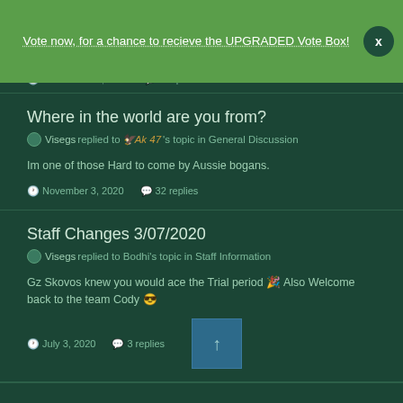Vote now, for a chance to recieve the UPGRADED Vote Box!
November 12, 2020  4 replies
Where in the world are you from?
Visegs replied to WAk 47's topic in General Discussion
Im one of those Hard to come by Aussie bogans.
November 3, 2020  32 replies
Staff Changes 3/07/2020
Visegs replied to Bodhi's topic in Staff Information
Gz Skovos knew you would ace the Trial period 🎉 Also Welcome back to the team Cody 😎
July 3, 2020  3 replies